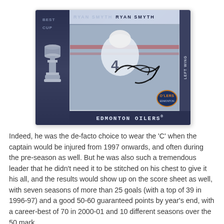[Figure (photo): A hockey trading card for Ryan Smyth of the Edmonton Oilers. The card shows a player in a white Edmonton Oilers jersey with number 4, with a signature across the photo. The left panel shows the Stanley Cup trophy. The card reads 'RYAN SMYTH', 'LEFT WING', and 'EDMONTON OILERS' at the bottom in a dark blue bar.]
Indeed, he was the de-facto choice to wear the 'C' when the captain would be injured from 1997 onwards, and often during the pre-season as well. But he was also such a tremendous leader that he didn't need it to be stitched on his chest to give it his all, and the results would show up on the score sheet as well, with seven seasons of more than 25 goals (with a top of 39 in 1996-97) and a good 50-60 guaranteed points by year's end, with a career-best of 70 in 2000-01 and 10 different seasons over the 50 mark.